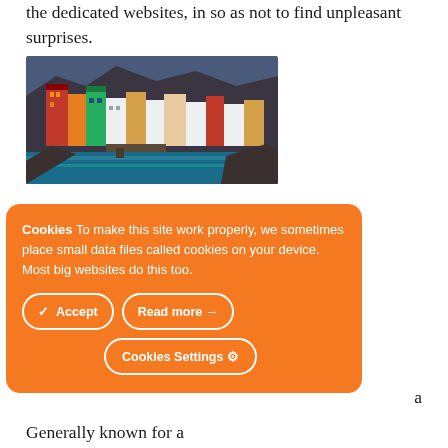the dedicated websites, in so as not to find unpleasant surprises.
[Figure (photo): Colorful buildings of Cinque Terre (likely Riomaggiore), Italy, clustered on a rocky hillside above the sea, photographed at dusk/blue hour.]
ll.
Cookies To make this site work properly, we sometimes place small data files called cookies on your device. Most big websites do this too.
a
Generally known for a